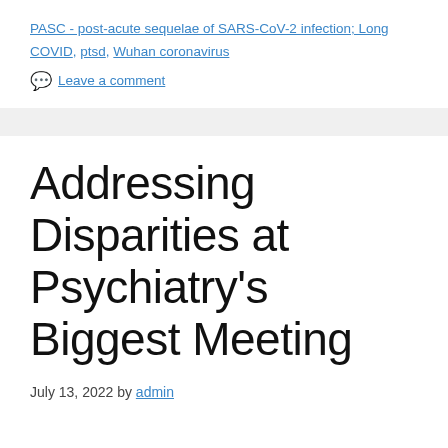PASC - post-acute sequelae of SARS-CoV-2 infection; Long COVID, ptsd, Wuhan coronavirus
Leave a comment
Addressing Disparities at Psychiatry's Biggest Meeting
July 13, 2022 by admin